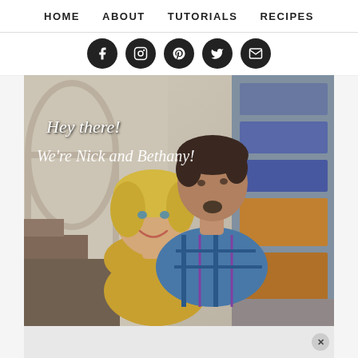HOME  ABOUT  TUTORIALS  RECIPES
[Figure (other): Row of five dark circular social media icon buttons (Facebook, Instagram, Pinterest, LinkedIn/Twitter, Email)]
[Figure (photo): Photo of a smiling couple - a blonde woman in a yellow top in front, and a dark-haired man in a blue plaid shirt behind her, on a staircase background. White script text overlay reads 'Hey there! We're Nick and Bethany!']
[Figure (other): Advertisement banner (partially visible) with close X button]